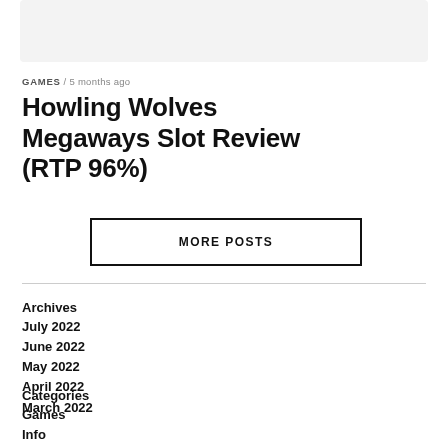[Figure (other): Gray banner/placeholder image at top of page]
GAMES / 5 months ago
Howling Wolves Megaways Slot Review (RTP 96%)
MORE POSTS
Archives
July 2022
June 2022
May 2022
April 2022
March 2022
Categories
Games
Info